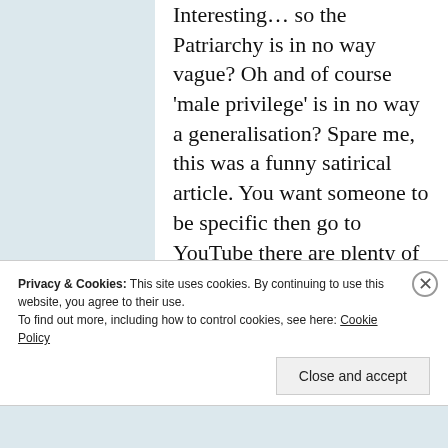Interesting… so the Patriarchy is in no way vague? Oh and of course 'male privilege' is in no way a generalisation? Spare me, this was a funny satirical article. You want someone to be specific then go to YouTube there are plenty of videos from people of both sides… except… hmm it only seems to to be the skeptics responding to actual videos? The feminists etc… well they just Lecture to a camera about pithy problems. Nothing
Privacy & Cookies: This site uses cookies. By continuing to use this website, you agree to their use. To find out more, including how to control cookies, see here: Cookie Policy
Close and accept